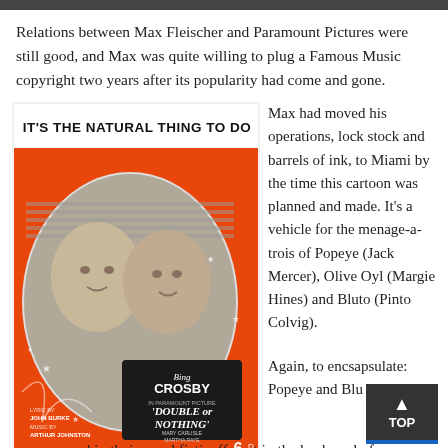Relations between Max Fleischer and Paramount Pictures were still good, and Max was quite willing to plug a Famous Music copyright two years after its popularity had come and gone.
[Figure (illustration): Sheet music cover for 'It's The Natural Thing To Do' featuring Bing Crosby from the Paramount picture 'Double or Nothing' with Mary Carlisle and Martha Raye. Orange background with black and white photo of a man and woman. Credits include John Burke and Arthur Johnston. Price marked 6d.]
Max had moved his operations, lock stock and barrels of ink, to Miami by the time this cartoon was planned and made. It's a vehicle for the menage-a-trois of Popeye (Jack Mercer), Olive Oyl (Margie Hines) and Bluto (Pinto Colvig).
Again, to encsapsulate: Popeye and Bluto are engaged in their usual fisticuffs out in the backyard of